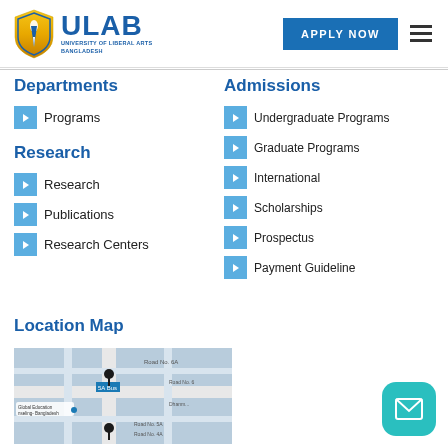[Figure (logo): ULAB University of Liberal Arts Bangladesh logo with shield and blue text]
Departments
Programs
Research
Research
Publications
Research Centers
Admissions
Undergraduate Programs
Graduate Programs
International
Scholarships
Prospectus
Payment Guideline
Location Map
[Figure (map): Street map showing ULAB location in Dhanmondi area, Dhaka, Bangladesh]